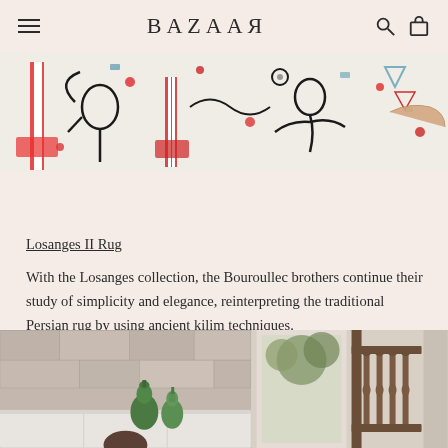BAZAAR
[Figure (illustration): Close-up of a colorful rug or textile with abstract/figurative illustrations in red, blue, black on a white background. Cartoon-like figures, circus-style poles with red and white stripes, scattered dots and shapes.]
Losanges II Rug
With the Losanges collection, the Bouroullec brothers continue their study of simplicity and elegance, reinterpreting the traditional Persian rug by using ancient kilim techniques.
[Figure (photo): Interior scene showing a sideboard with two green glass bottle vases, a stone or textured wall behind. On the right half, a window with ornate dark wooden balustrade/railing visible through it. Someone with dark hair is partially visible at the bottom center.]